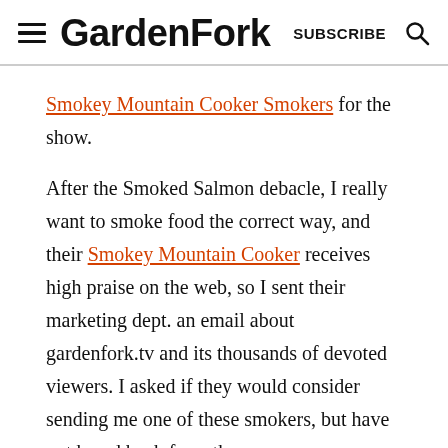GardenFork  SUBSCRIBE
Smokey Mountain Cooker Smokers for the show.
After the Smoked Salmon debacle, I really want to smoke food the correct way, and their Smokey Mountain Cooker receives high praise on the web, so I sent their marketing dept. an email about gardenfork.tv and its thousands of devoted viewers. I asked if they would consider sending me one of these smokers, but have not heard back from them.
Have they...